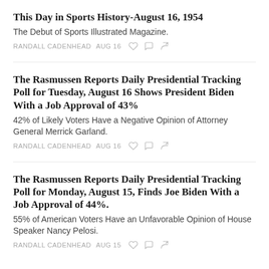This Day in Sports History-August 16, 1954
The Debut of Sports Illustrated Magazine.
RANDALL CADENHEAD   AUG 16
The Rasmussen Reports Daily Presidential Tracking Poll for Tuesday, August 16 Shows President Biden With a Job Approval of 43%
42% of Likely Voters Have a Negative Opinion of Attorney General Merrick Garland.
RANDALL CADENHEAD   AUG 16
The Rasmussen Reports Daily Presidential Tracking Poll for Monday, August 15, Finds Joe Biden With a Job Approval of 44%.
55% of American Voters Have an Unfavorable Opinion of House Speaker Nancy Pelosi.
RANDALL CADENHEAD   AUG 15